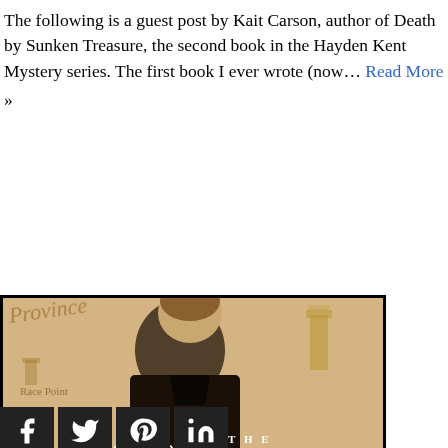The following is a guest post by Kait Carson, author of Death by Sunken Treasure, the second book in the Hayden Kent Mystery series. The first book I ever wrote (now… Read More »
[Figure (illustration): Book cover showing a young man in a black leather jacket against a vintage map background with text 'THE HOMEPORT' at bottom. Social media icons (Facebook, Twitter, Pinterest, LinkedIn) visible at bottom left.]